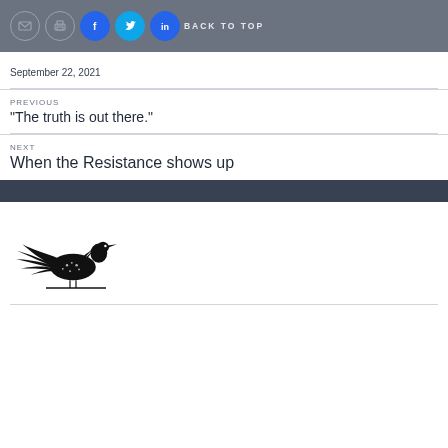BACK TO TOP
September 22, 2021
PREVIOUS
“The truth is out there.”
NEXT
When the Resistance shows up
[Figure (logo): Black loon bird logo with wings spread, standing on a horizontal line]